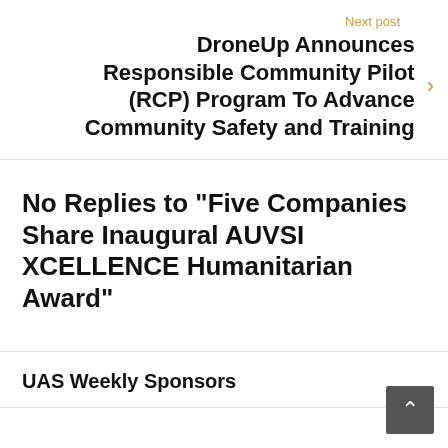Next post
DroneUp Announces Responsible Community Pilot (RCP) Program To Advance Community Safety and Training
No Replies to "Five Companies Share Inaugural AUVSI XCELLENCE Humanitarian Award"
UAS Weekly Sponsors